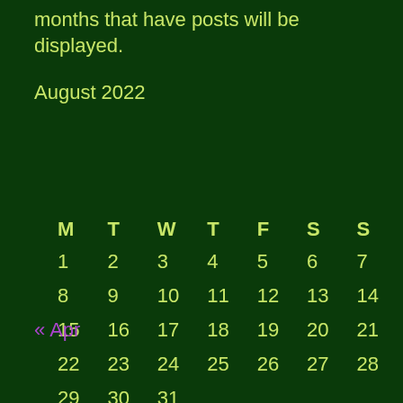months that have posts will be displayed.
August 2022
| M | T | W | T | F | S | S |
| --- | --- | --- | --- | --- | --- | --- |
| 1 | 2 | 3 | 4 | 5 | 6 | 7 |
| 8 | 9 | 10 | 11 | 12 | 13 | 14 |
| 15 | 16 | 17 | 18 | 19 | 20 | 21 |
| 22 | 23 | 24 | 25 | 26 | 27 | 28 |
| 29 | 30 | 31 |  |  |  |  |
« Apr